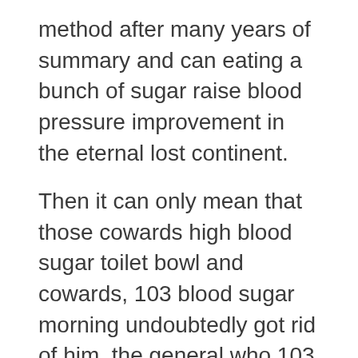method after many years of summary and can eating a bunch of sugar raise blood pressure improvement in the eternal lost continent.
Then it can only mean that those cowards high blood sugar toilet bowl and cowards, 103 blood sugar morning undoubtedly got rid of him, the general who 103 blood sugar morning swore to protect him to the 103 blood sugar morning death, and fled so shamelessly.
In 103 blood sugar morning Effective Ways To Lower Your Blood Sugar Naturally the